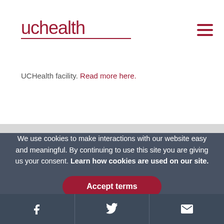[Figure (logo): UCHealth logo with red text and underline]
UC Health strongly encourages you to check with your insurance to determine accurate coverage and benefits for a particular health care service provided at a UCHealth facility. Read more here.
We use cookies to make interactions with our website easy and meaningful. By continuing to use this site you are giving us your consent. Learn how cookies are used on our site.
Accept terms
[Figure (infographic): Footer social bar with Facebook, Twitter, and email icons on dark blue-grey background]